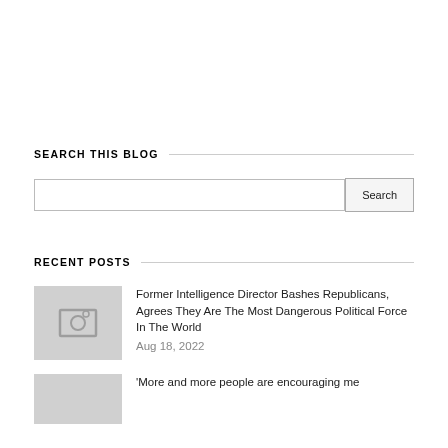SEARCH THIS BLOG
Search input and button
RECENT POSTS
Former Intelligence Director Bashes Republicans, Agrees They Are The Most Dangerous Political Force In The World
Aug 18, 2022
'More and more people are encouraging me